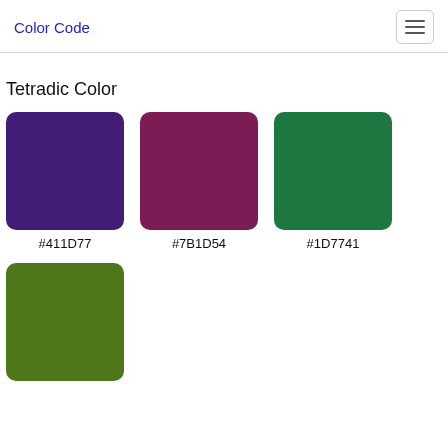Color Code
Tetradic Color
[Figure (illustration): Four color swatches showing tetradic colors: #411D77 (dark purple), #7B1D54 (dark magenta/maroon), #1D7741 (dark green), and #4d7719 (olive green), each displayed as a rounded rectangle with the hex code label below.]